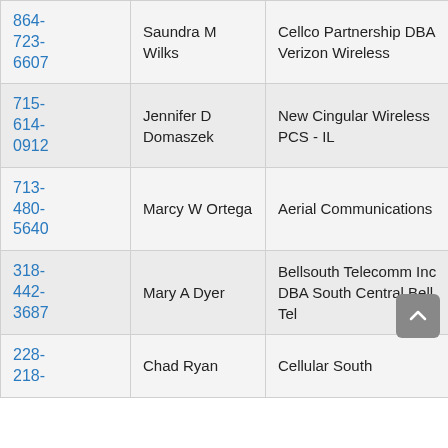| Phone | Name | Carrier | State |
| --- | --- | --- | --- |
| 864-723-6607 | Saundra M Wilks | Cellco Partnership DBA Verizon Wireless | NC |
| 715-614-0912 | Jennifer D Domaszek | New Cingular Wireless PCS - IL | WI |
| 713-480-5640 | Marcy W Ortega | Aerial Communications | TX |
| 318-442-3687 | Mary A Dyer | Bellsouth Telecomm Inc DBA South Central Bell Tel | LA |
| 228-218- | Chad Ryan | Cellular South | MS |